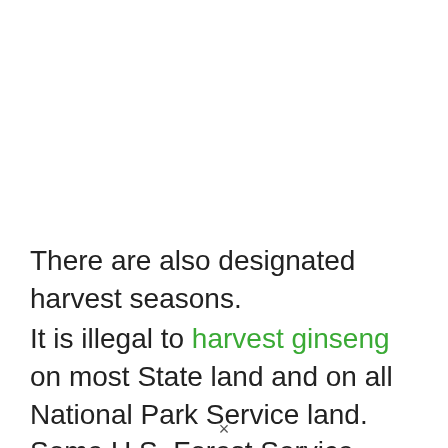There are also designated harvest seasons.
It is illegal to harvest ginseng on most State land and on all National Park Service land. Some U.S. Forest Service National Forests will issue harvesting permits
×